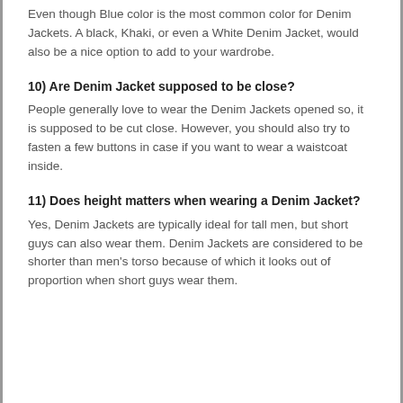Even though Blue color is the most common color for Denim Jackets. A black, Khaki, or even a White Denim Jacket, would also be a nice option to add to your wardrobe.
10) Are Denim Jacket supposed to be close?
People generally love to wear the Denim Jackets opened so, it is supposed to be cut close. However, you should also try to fasten a few buttons in case if you want to wear a waistcoat inside.
11) Does height matters when wearing a Denim Jacket?
Yes, Denim Jackets are typically ideal for tall men, but short guys can also wear them. Denim Jackets are considered to be shorter than men's torso because of which it looks out of proportion when short guys wear them.